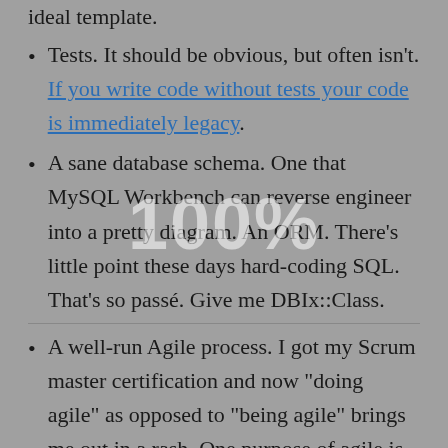ideal template.
Tests. It should be obvious, but often isn't. If you write code without tests your code is immediately legacy.
A sane database schema. One that MySQL Workbench can reverse engineer into a pretty diagram. An ORM. There's little point these days hard-coding SQL. That's so passé. Give me DBIx::Class.
A well-run Agile process. I got my Scrum master certification and now "doing agile" as opposed to "being agile" brings me out in a rash. One purpose of agile is to get better and unless you do that, you're not agile. Just standups and sprint planning don't cut it.
Javascript I can take or leave, but it's a given these days. I can do it but I'll hate myself.